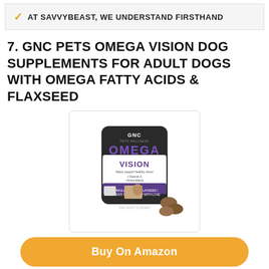AT SAVVYBEAST, WE UNDERSTAND FIRSTHAND
7. GNC PETS OMEGA VISION DOG SUPPLEMENTS FOR ADULT DOGS WITH OMEGA FATTY ACIDS & FLAXSEED
[Figure (photo): GNC Pets Omega Vision dog supplement container with dog treats visible]
Buy On Amazon
Features:
GNC PETS OMEGA VISION SUPPORT DOG